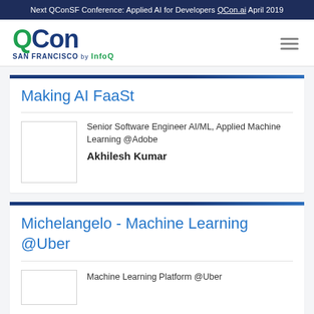Next QConSF Conference: Applied AI for Developers QCon.ai April 2019
[Figure (logo): QCon San Francisco by InfoQ logo with hamburger menu icon]
Making AI FaaSt
Senior Software Engineer AI/ML, Applied Machine Learning @Adobe
Akhilesh Kumar
Michelangelo - Machine Learning @Uber
Machine Learning Platform @Uber